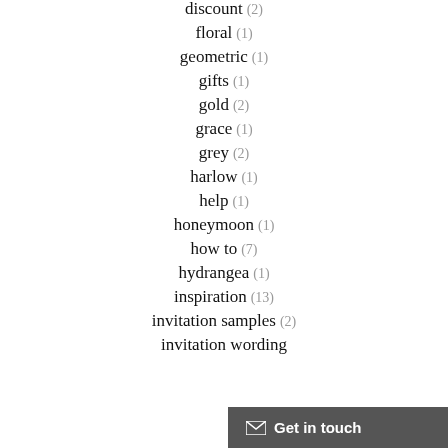discount (2)
floral (1)
geometric (1)
gifts (1)
gold (2)
grace (1)
grey (2)
harlow (1)
help (1)
honeymoon (1)
how to (7)
hydrangea (1)
inspiration (13)
invitation samples (2)
invitation wording